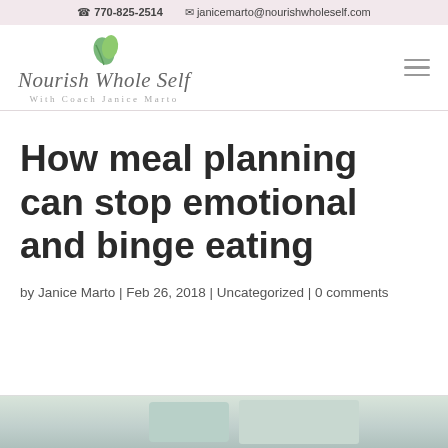770-825-2514  janicemarto@nourishwholeself.com
[Figure (logo): Nourish Whole Self with Coach Janice Marto logo with green leaf icon and cursive text]
How meal planning can stop emotional and binge eating
by Janice Marto | Feb 26, 2018 | Uncategorized | 0 comments
[Figure (photo): Partial photo visible at bottom of page, cropped]